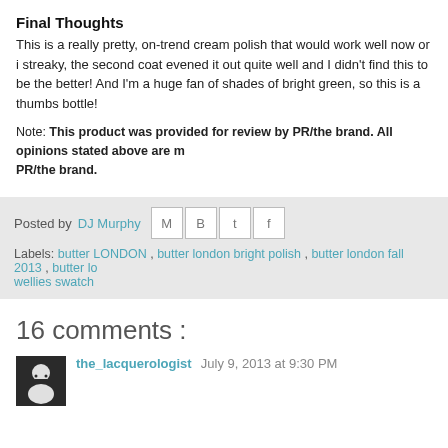Final Thoughts
This is a really pretty, on-trend cream polish that would work well now or i streaky, the second coat evened it out quite well and I didn't find this to be the better! And I'm a huge fan of shades of bright green, so this is a thumbs bottle!
Note: This product was provided for review by PR/the brand. All opinions stated above are m PR/the brand.
Posted by DJ Murphy
Labels: butter LONDON , butter london bright polish , butter london fall 2013 , butter lo wellies swatch
16 comments :
the_lacquerologist July 9, 2013 at 9:30 PM